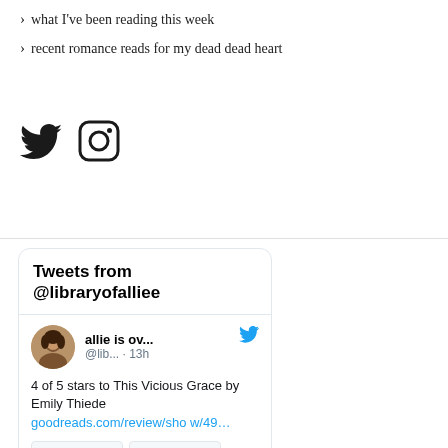what I've been reading this week
recent romance reads for my dead dead heart
[Figure (other): Twitter and Instagram social media icons]
Tweets from @libraryofalliee
allie is ov... @lib... · 13h   4 of 5 stars to This Vicious Grace by Emily Thiede goodreads.com/review/show/49…